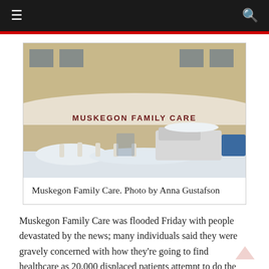≡  🔍
[Figure (photo): Exterior photograph of Muskegon Family Care building in winter with snow on the ground and vehicles parked outside. The building has a curved white facade with 'MUSKEGON FAMILY CARE' lettered on it.]
Muskegon Family Care. Photo by Anna Gustafson
Muskegon Family Care was flooded Friday with people devastated by the news; many individuals said they were gravely concerned with how they're going to find healthcare as 20,000 displaced patients attempt to do the same.
Amanda Hayes, who has been a patient at Muskegon Family Care for 16 years, went to an appointment with